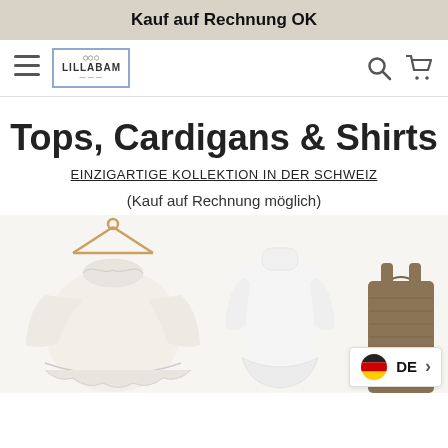Kauf auf Rechnung OK
[Figure (screenshot): Navigation bar with hamburger menu, LILLABAM logo, search icon, and cart icon]
Tops, Cardigans & Shirts
EINZIGARTIGE KOLLEKTION IN DER SCHWEIZ
(Kauf auf Rechnung möglich)
[Figure (photo): Three clothing items: a white ruffled collar blouse on a hanger, a white peplum long-sleeve top, and a brown sleeveless ribbed top]
[Figure (other): Language switcher showing German flag and DE label with arrow]